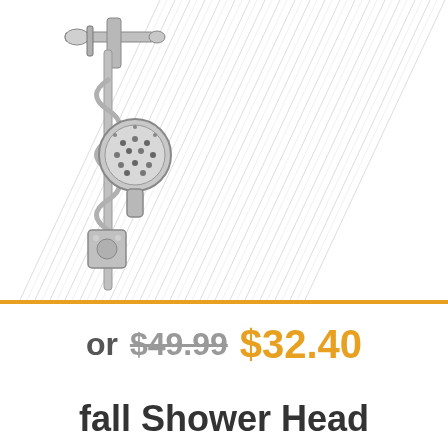[Figure (photo): Chrome dual shower head system showing a handheld shower head on a flexible hose with wall bracket and a large rainfall shower spray in the background]
or $49.99 $32.40
fall Shower Head